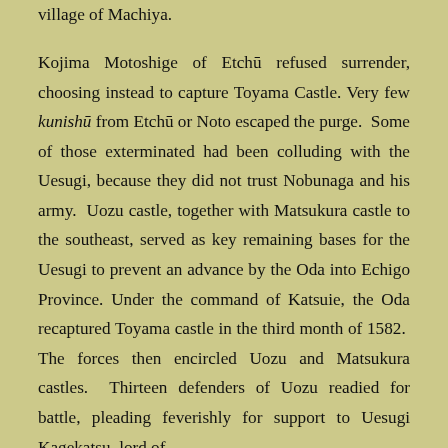village of Machiya.
Kojima Motoshige of Etchū refused surrender, choosing instead to capture Toyama Castle. Very few kunishū from Etchū or Noto escaped the purge. Some of those exterminated had been colluding with the Uesugi, because they did not trust Nobunaga and his army. Uozu castle, together with Matsukura castle to the southeast, served as key remaining bases for the Uesugi to prevent an advance by the Oda into Echigo Province. Under the command of Katsuie, the Oda recaptured Toyama castle in the third month of 1582. The forces then encircled Uozu and Matsukura castles. Thirteen defenders of Uozu readied for battle, pleading feverishly for support to Uesugi Kagekatsu, lord of Kasugayama Castle in Echigo. However, he did